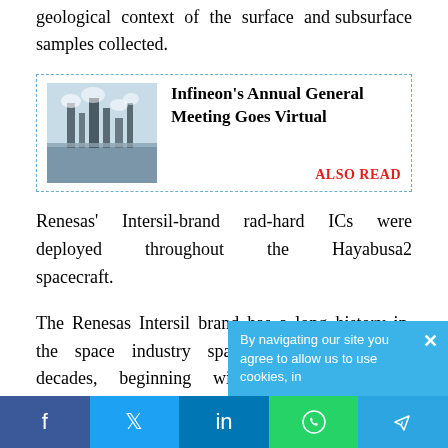geological context of the surface and subsurface samples collected.
[Figure (other): Also Read box with image of industrial structures (possibly factory or rocket launch towers) in icy/winter conditions, with bold title 'Infineon's Annual General Meeting Goes Virtual' and red 'ALSO READ' label]
Renesas' Intersil-brand rad-hard ICs were deployed throughout the Hayabusa2 spacecraft.
The Renesas Intersil brand has a long history in the space industry spanning more than six decades, beginning with the founding of Radiation Inc. in 1950. Since then
f  t  in  [whatsapp]  [telegram]